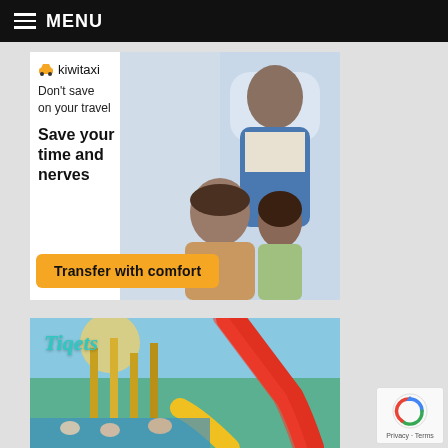≡ MENU
[Figure (illustration): Kiwitaxi advertisement with family photo (man, woman, child near airplane), logo, tagline 'Don't save on your travel', headline 'Save your time and nerves', and yellow CTA button 'Transfer with comfort']
[Figure (illustration): Tiqets advertisement showing water park/amusement park scene with colorful slides and logo 'Tiqets' in teal italic]